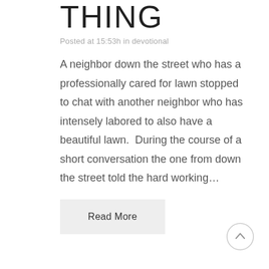THING
Posted at 15:53h in devotional
A neighbor down the street who has a professionally cared for lawn stopped to chat with another neighbor who has intensely labored to also have a beautiful lawn.  During the course of a short conversation the one from down the street told the hard working…
Read More
[Figure (illustration): Circle button with upward arrow for scrolling to top of page]